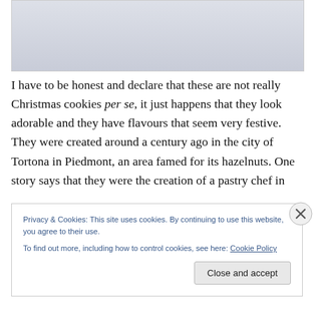[Figure (photo): Light gray/lavender colored image placeholder at the top of the page]
I have to be honest and declare that these are not really Christmas cookies per se, it just happens that they look adorable and they have flavours that seem very festive. They were created around a century ago in the city of Tortona in Piedmont, an area famed for its hazelnuts. One story says that they were the creation of a pastry chef in
Privacy & Cookies: This site uses cookies. By continuing to use this website, you agree to their use.
To find out more, including how to control cookies, see here: Cookie Policy
Close and accept